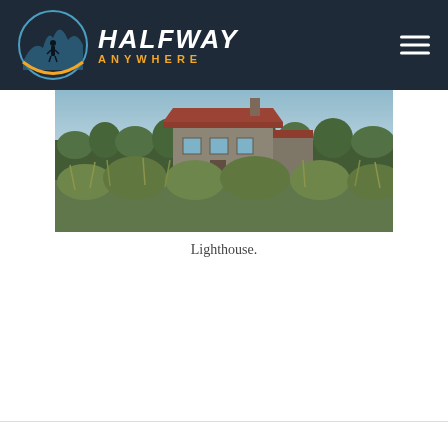Halfway Anywhere
[Figure (photo): Panoramic photo of a building with a red/brown roof surrounded by wild vegetation and shrubs, likely a lighthouse keeper's house or coastal building, with trees and sky in the background.]
Lighthouse.